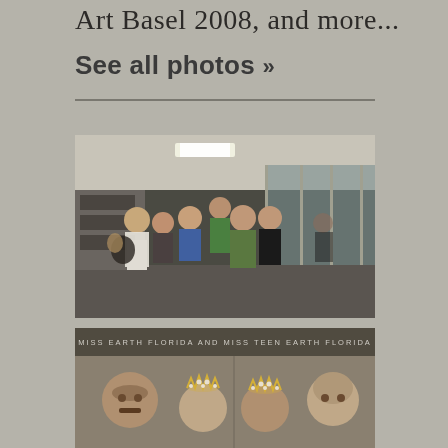Art Basel 2008, and more...
See all photos »
[Figure (photo): Group photo of several people posing together in an indoor corridor with glass walls and office lighting]
[Figure (photo): Photo with text overlay reading MISS EARTH FLORIDA AND MISS TEEN EARTH FLORIDA, showing people with tiaras]